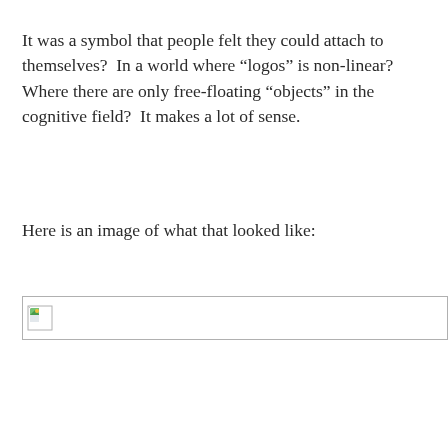It was a symbol that people felt they could attach to themselves?  In a world where “logos” is non-linear?  Where there are only free-floating “objects” in the cognitive field?  It makes a lot of sense.
Here is an image of what that looked like:
[Figure (photo): A broken image placeholder with a small icon in the top-left corner, shown as a wide horizontal rectangle with a grey border.]